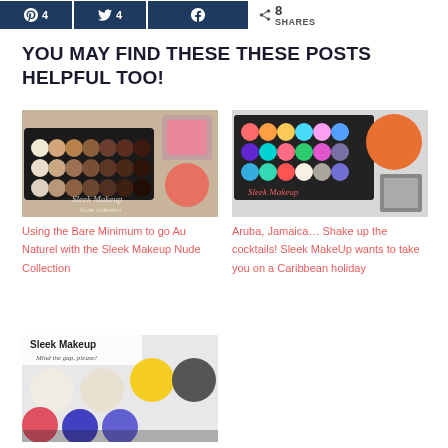[Figure (other): Social share buttons: Pinterest (4), Twitter (4), Facebook, and a share count showing 8 SHARES]
YOU MAY FIND THESE THESE POSTS HELPFUL TOO!
[Figure (photo): Sleek Makeup Nude Collection eyeshadow palette and blush products]
Using the Bare Minimum to go Au Naturel with the Sleek Makeup Nude Collection
[Figure (photo): Sleek MakeUp colorful eyeshadow palette with Caribbean holiday collection products]
Aruba, Jamaica… Shake up the cocktails! Sleek MakeUp wants to take you on a Caribbean holiday
[Figure (photo): Sleek Makeup i-Divine palette showing colorful eyeshadows including blue, purple, pink, yellow]